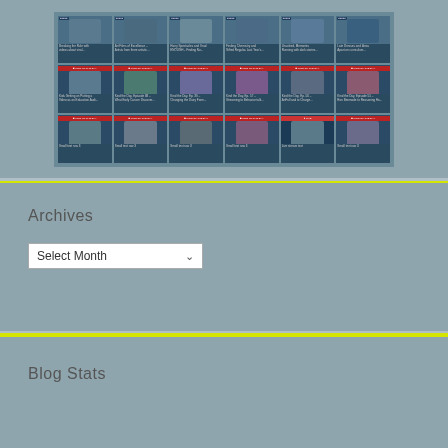[Figure (screenshot): A grid of video thumbnails showing multiple rows and columns of video tiles, each with a thumbnail image of people and text below describing the video title and view count.]
Archives
Select Month
Blog Stats